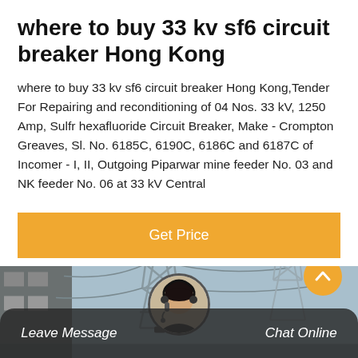where to buy 33 kv sf6 circuit breaker Hong Kong
where to buy 33 kv sf6 circuit breaker Hong Kong,Tender For Repairing and reconditioning of 04 Nos. 33 kV, 1250 Amp, Sulfr hexafluoride Circuit Breaker, Make - Crompton Greaves, Sl. No. 6185C, 6190C, 6186C and 6187C of Incomer - I, II, Outgoing Piparwar mine feeder No. 03 and NK feeder No. 06 at 33 kV Central
[Figure (other): Orange 'Get Price' button banner]
[Figure (photo): Photo of electrical power transmission towers and substation infrastructure. A customer service representative avatar is overlaid at the bottom center. An orange scroll-up button appears at lower right. Bottom dark bar contains 'Leave Message' and 'Chat Online' buttons.]